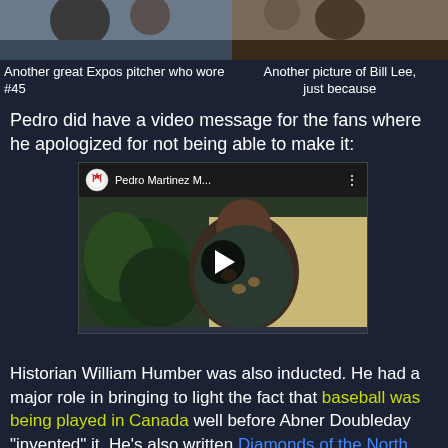[Figure (photo): Photo of an Expos pitcher who wore #45 (top cropped portion)]
[Figure (photo): Photo of Bill Lee (top cropped portion)]
Another great Expos pitcher who wore #45
Another picture of Bill Lee, just because
Pedro did have a video message for the fans where he apologized for not being able to make it:
[Figure (screenshot): YouTube video thumbnail showing Pedro Martinez M... video with play button]
Historian William Humber was also inducted. He had a major role in bringing to light the fact that baseball was being played in Canada well before Abner Doubleday "invented" it. He's also written Diamonds of the North. And is the main...